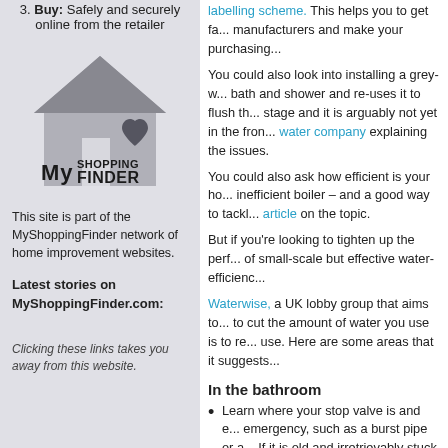3. Buy: Safely and securely online from the retailer
[Figure (logo): MyShoppingFinder logo: house icon with heart and text 'My Shopping Finder']
This site is part of the MyShoppingFinder network of home improvement websites.
Latest stories on MyShoppingFinder.com:
Clicking these links takes you away from this website.
labelling scheme. This helps you to get fa... manufacturers and make your purchasing...
You could also look into installing a grey-w... bath and shower and re-uses it to flush th... stage and it is arguably not yet in the fron... water company explaining the issues.
You could also ask how efficient is your ho... inefficient boiler – and a good way to tackl... article on the topic.
But if you're looking to tighten up the perf... of small-scale but effective water-efficienc...
Waterwise, a UK lobby group that aims to... to cut the amount of water you use is to re... use. Here are some areas that it suggests...
In the bathroom
Learn where your stop valve is and e... emergency, such as a burst pipe or a... If it is old and irretrievably stuck you s... modern lever-type valve.
Don't leave the tap running while brus...